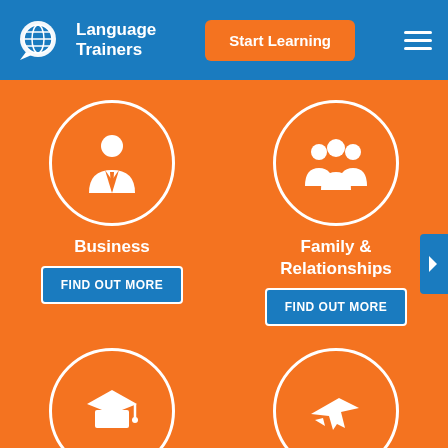[Figure (logo): Language Trainers logo with globe and speech bubble icon, white on blue background]
Language Trainers
[Figure (screenshot): Orange Start Learning button in navigation]
[Figure (infographic): Business category icon: white businessman silhouette in white circle on orange background]
Business
[Figure (screenshot): FIND OUT MORE button for Business]
[Figure (infographic): Family & Relationships category icon: three white people silhouettes in white circle on orange background]
Family & Relationships
[Figure (screenshot): FIND OUT MORE button for Family & Relationships]
[Figure (infographic): Graduation cap icon in white circle on orange background]
[Figure (infographic): Airplane icon in white circle on orange background]